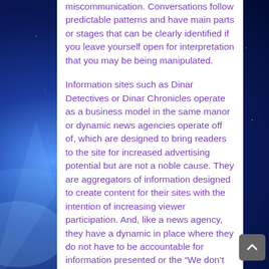miscommunication. Conversations follow predictable patterns and have main parts or stages that can be clearly identified if you leave yourself open for interpretation that you may be being manipulated.
Information sites such as Dinar Detectives or Dinar Chronicles operate as a business model in the same manor or dynamic news agencies operate off of, which are designed to bring readers to the site for increased advertising potential but are not a noble cause. They are aggregators of information designed to create content for their sites with the intention of increasing viewer participation. And, like a news agency, they have a dynamic in place where they do not have to be accountable for information presented or the “We don’t make the News-We just report it” concept or “The information came from a Source that must remain anonymous”. The information they provide is always second,